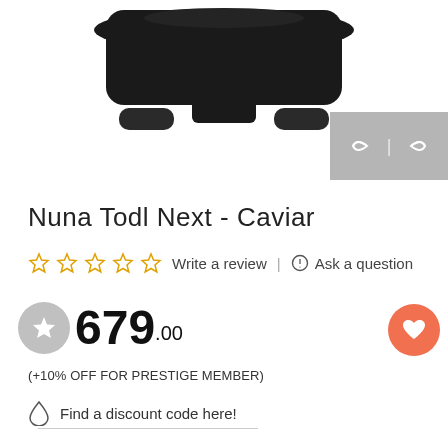[Figure (photo): Bottom view of a black stroller seat/car seat product (Nuna Todl Next in Caviar color) on white background]
Nuna Todl Next - Caviar
☆☆☆☆☆ Write a review | Ask a question
679.00
(+10% OFF FOR PRESTIGE MEMBER)
Find a discount code here!